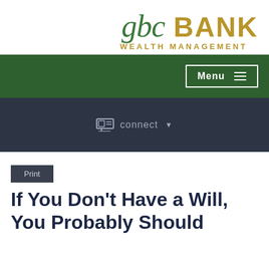[Figure (logo): GBC Bank Wealth Management logo — 'gbc' in green italic serif, 'BANK' in gold bold sans-serif, 'WEALTH MANAGEMENT' in gold small-caps tracking below]
Menu ☰
connect ▼
Print
If You Don't Have a Will, You Probably Should